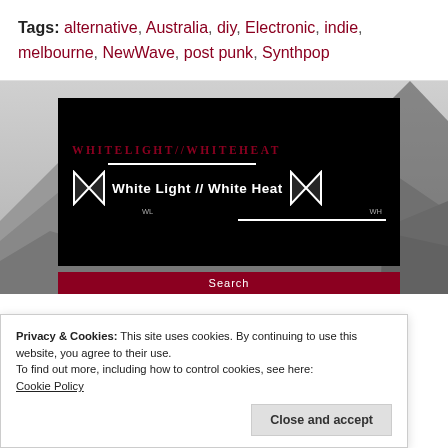Tags: alternative, Australia, diy, Electronic, indie, melbourne, NewWave, post punk, Synthpop
[Figure (screenshot): Black banner with white horizontal lines and logo reading 'WHITELIGHT//WHITEHEAT' with 'White Light // White Heat' text and stylized WL/WH icons, overlaid on a greyscale mountain landscape background. A 'Search' bar in dark red at the bottom of the banner.]
Privacy & Cookies: This site uses cookies. By continuing to use this website, you agree to their use.
To find out more, including how to control cookies, see here: Cookie Policy
Close and accept